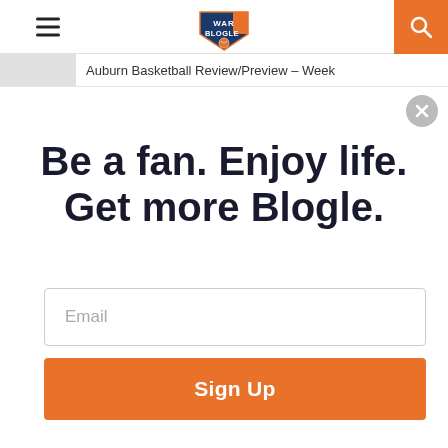War Blogle — hamburger menu, logo, search
Auburn Basketball Review/Preview – Week
Be a fan. Enjoy life. Get more Blogle.
Email
Sign Up